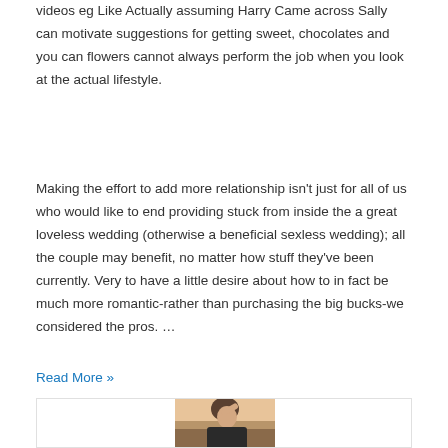videos eg Like Actually assuming Harry Came across Sally can motivate suggestions for getting sweet, chocolates and you can flowers cannot always perform the job when you look at the actual lifestyle.
Making the effort to add more relationship isn't just for all of us who would like to end providing stuck from inside the a great loveless wedding (otherwise a beneficial sexless wedding); all the couple may benefit, no matter how stuff they've been currently. Very to have a little desire about how to in fact be much more romantic-rather than purchasing the big bucks-we considered the pros. …
Read More »
[Figure (photo): A person outdoors, resting their hand on their head, with a waterfront or coastal scene visible in the background. The image is partially shown within a white card with a border.]